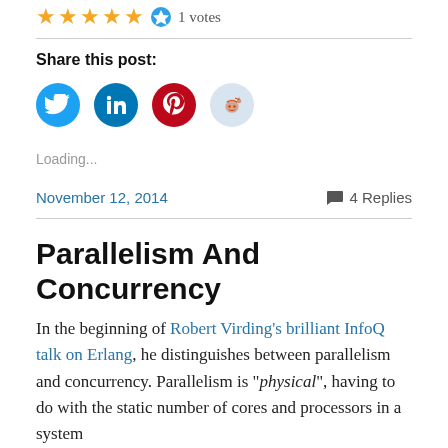★★★★★ 1 votes
Share this post:
[Figure (infographic): Four social media share buttons: Twitter (blue), LinkedIn (dark blue), Pinterest (red), Reddit (light blue)]
Loading...
November 12, 2014     💬 4 Replies
Parallelism And Concurrency
In the beginning of Robert Virding's brilliant InfoQ talk on Erlang, he distinguishes between parallelism and concurrency. Parallelism is "physical", having to do with the static number of cores and processors in a system